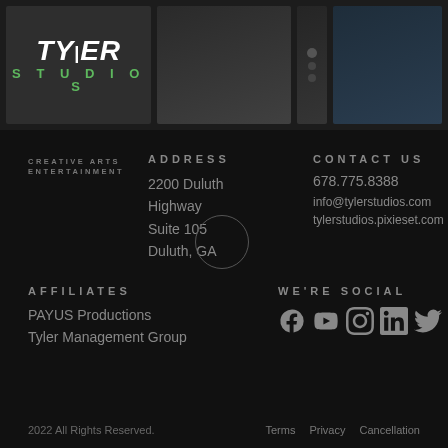[Figure (photo): Tyler Studios header with logo and three background images of car, building exterior, and blue-toned building]
CREATIVE ARTS ENTERTAINMENT
ADDRESS
2200 Duluth Highway Suite 105 Duluth, GA
CONTACT US
678.775.8388
info@tylerstudios.com
tylerstudios.pixieset.com
AFFILIATES
PAYUS Productions
Tyler Management Group
WE'RE SOCIAL
[Figure (other): Social media icons: Facebook, YouTube, Instagram, LinkedIn, Twitter, Yelp]
2022 All Rights Reserved.    Terms  Privacy  Cancellation